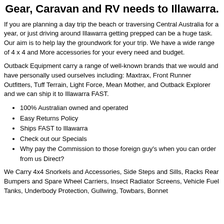Gear, Caravan and RV needs to Illawarra.
If you are planning a day trip the beach or traversing Central Australia for a year, or just driving around Illawarra getting prepped can be a huge task. Our aim is to help lay the groundwork for your trip. We have a wide range of 4 x 4 and More accessories for your every need and budget.
Outback Equipment carry a range of well-known brands that we would and have personally used ourselves including: Maxtrax, Front Runner Outfitters, Tuff Terrain, Light Force, Mean Mother, and Outback Explorer and we can ship it to Illawarra FAST.
100% Australian owned and operated
Easy Returns Policy
Ships FAST to Illawarra
Check out our Specials
Why pay the Commission to those foreign guy's when you can order from us Direct?
We Carry 4x4 Snorkels and Accessories, Side Steps and Sills, Racks Rear Bumpers and Spare Wheel Carriers, Insect Radiator Screens, Vehicle Fuel Tanks, Underbody Protection, Gullwing, Towbars, Bonnet